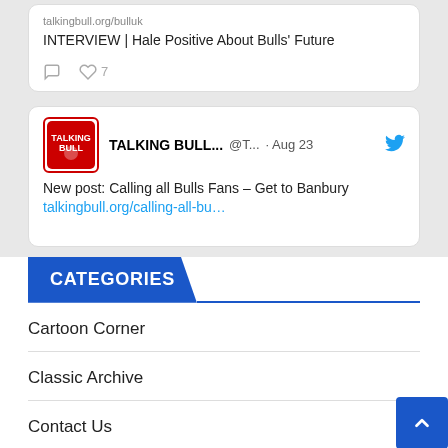[Figure (screenshot): Tweet card showing link preview: 'INTERVIEW | Hale Positive About Bulls' Future' with comment and like (7) icons]
[Figure (screenshot): Tweet from TALKING BULL... @T... · Aug 23 with Twitter bird icon and Talking Bull logo. Text: 'New post: Calling all Bulls Fans – Get to Banbury talkingbull.org/calling-all-bu...']
CATEGORIES
Cartoon Corner
Classic Archive
Contact Us